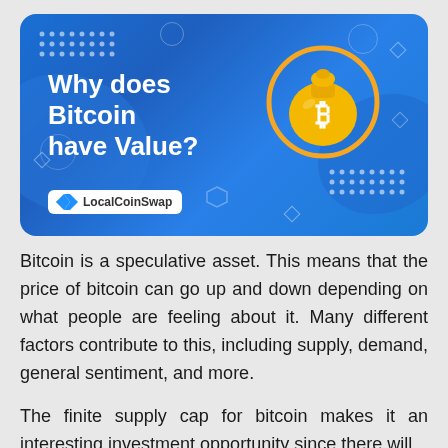[Figure (infographic): Infographic banner with blue gradient background showing the title 'Why does Bitcoin have Value?' in bold white text with a golden Bitcoin money bag icon in an orange circle, and the LocalCoinSwap logo badge at the bottom left. Decorative dots, circles, hexagons and diamond shapes scattered around.]
Bitcoin is a speculative asset. This means that the price of bitcoin can go up and down depending on what people are feeling about it. Many different factors contribute to this, including supply, demand, general sentiment, and more.
The finite supply cap for bitcoin makes it an interesting investment opportunity since there will